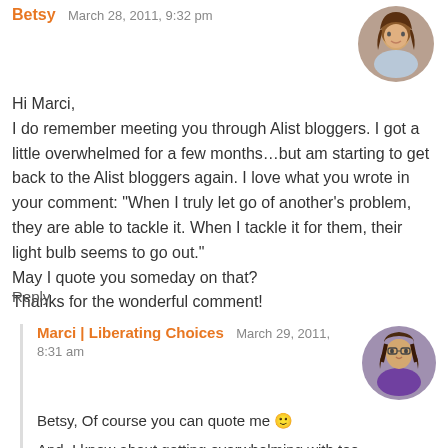Betsy   March 28, 2011, 9:32 pm
Hi Marci,
I do remember meeting you through Alist bloggers. I got a little overwhelmed for a few months…but am starting to get back to the Alist bloggers again. I love what you wrote in your comment: “When I truly let go of another’s problem, they are able to tackle it. When I tackle it for them, their light bulb seems to go out.”
May I quote you someday on that?
Thanks for the wonderful comment!
Reply
Marci | Liberating Choices   March 29, 2011, 8:31 am
Betsy, Of course you can quote me 🙂
And, I know about getting overwhelming with too